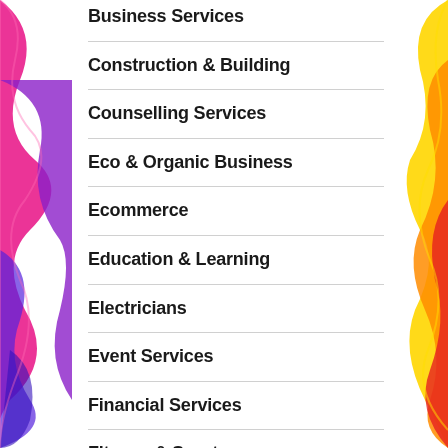Business Services
Construction & Building
Counselling Services
Eco & Organic Business
Ecommerce
Education & Learning
Electricians
Event Services
Financial Services
Fitness & Sports